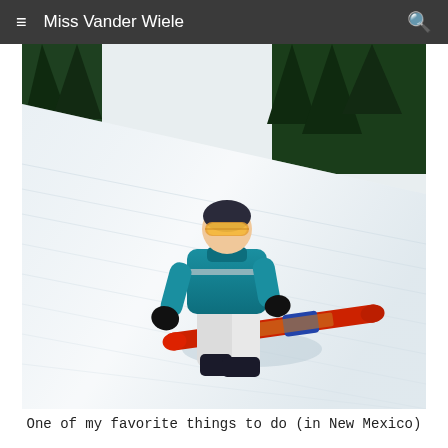Miss Vander Wiele
[Figure (photo): A person snowboarding down a snowy slope wearing a teal/turquoise jacket, white pants, dark gloves, and goggles. They are riding a red snowboard. Trees are visible in the background.]
One of my favorite things to do (in New Mexico)